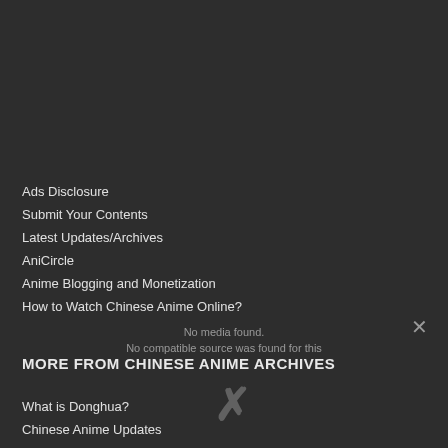Ads Disclosure
Submit Your Contents
Latest Updates/Archives
AniCircle
Anime Blogging and Monetization
How to Watch Chinese Anime Online?
No compatible source was found for this
MORE FROM CHINESE ANIME ARCHIVES
What is Donghua?
Chinese Anime Updates